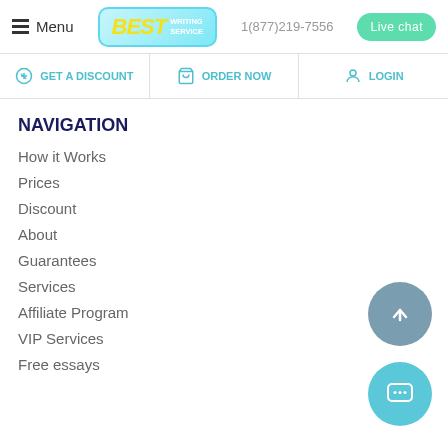Menu | BEST WRITING SERVICE | 1(877)219-7556 | Live chat
GET A DISCOUNT | ORDER NOW | LOGIN
NAVIGATION
How it Works
Prices
Discount
About
Guarantees
Services
Affiliate Program
VIP Services
Free essays